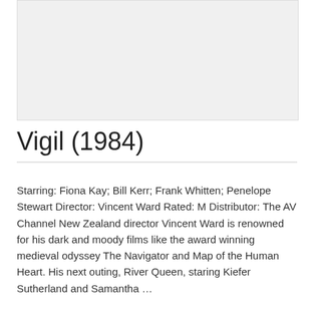[Figure (other): Light gray image placeholder rectangle at the top of the page]
Vigil (1984)
Starring: Fiona Kay; Bill Kerr; Frank Whitten; Penelope Stewart Director: Vincent Ward Rated: M Distributor: The AV Channel New Zealand director Vincent Ward is renowned for his dark and moody films like the award winning medieval odyssey The Navigator and Map of the Human Heart. His next outing, River Queen, staring Kiefer Sutherland and Samantha …
Read more »